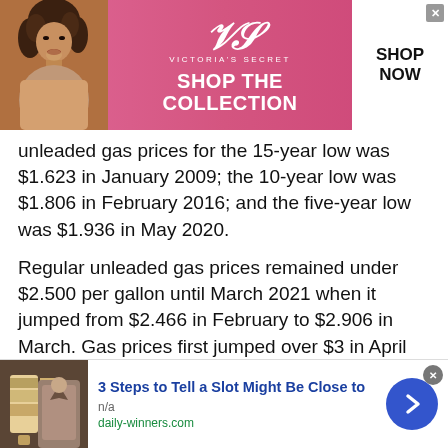[Figure (photo): Victoria's Secret advertisement banner with a model on the left, VS logo and 'VICTORIA'S SECRET' branding in center-left on pink background, 'SHOP THE COLLECTION' text in white on pink, and a white 'SHOP NOW' button on the right with a close X button.]
unleaded gas prices for the 15-year low was $1.623 in January 2009; the 10-year low was $1.806 in February 2016; and the five-year low was $1.936 in May 2020.
Regular unleaded gas prices remained under $2.500 per gallon until March 2021 when it jumped from $2.466 in February to $2.906 in March. Gas prices first jumped over $3 in April 2020 at $3.074 per gallon of regular unleaded gasoline. Gas prices in Wyoming have not been under $3 dollars since.
[Figure (photo): Bottom advertisement: image of a slot machine on the left, text '3 Steps to Tell a Slot Might Be Close to' in blue bold, 'n/a' in gray, 'daily-winners.com' in green, and a blue circular arrow button on the right. Close X button top right.]